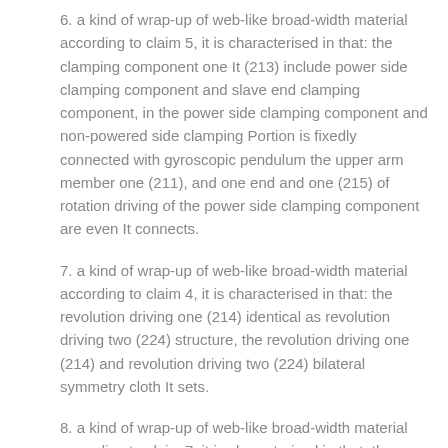6. a kind of wrap-up of web-like broad-width material according to claim 5, it is characterised in that: the clamping component one It (213) include power side clamping component and slave end clamping component, in the power side clamping component and non-powered side clamping Portion is fixedly connected with gyroscopic pendulum the upper arm member one (211), and one end and one (215) of rotation driving of the power side clamping component are even It connects.
7. a kind of wrap-up of web-like broad-width material according to claim 4, it is characterised in that: the revolution driving one (214) identical as revolution driving two (224) structure, the revolution driving one (214) and revolution driving two (224) bilateral symmetry cloth It sets.
8. a kind of wrap-up of web-like broad-width material according to claim 7, it is characterised in that: the revolution driving one It (214) include worm gear, worm screw, transmission parts one and decelerating motor, the worm gear is connect with revolution mandrel one (212), the snail Bar and decelerating motor are fixedly connected with rack (1), one connecting worm of transmission parts